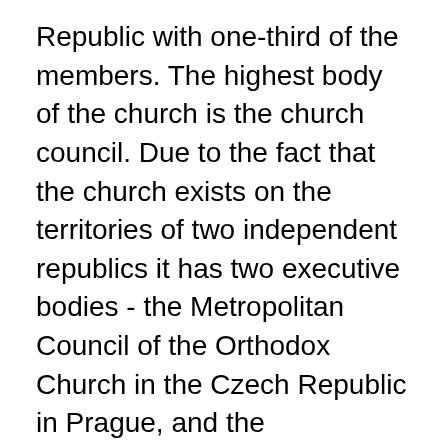Republic with one-third of the members. The highest body of the church is the church council. Due to the fact that the church exists on the territories of two independent republics it has two executive bodies - the Metropolitan Council of the Orthodox Church in the Czech Republic in Prague, and the Metropolitan Council of the Orthodox Church in the Slovak Republic in Presov. According to the constitution, the archbishop of Prague or of Presov can become the head of the church, with the title "Metropolitan". The highest canonical authority of the church is the holy synod, which consists of the four bishops from the two republics.
The church has eight monasteries and one secondary school. The candidates for the priesthood, teachers of religion and ethics and social workers, are trained at the Orthodox theological faculty of Presov University (Slovakia) and at its detached study centre in Olomouc